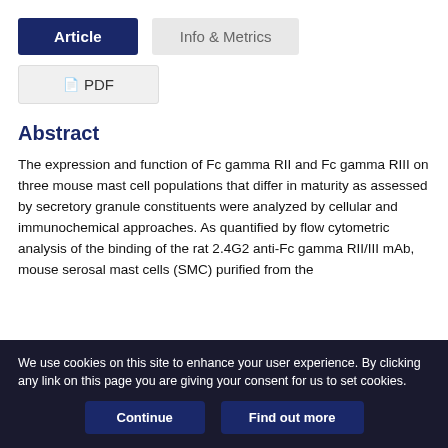Article
Info & Metrics
PDF
Abstract
The expression and function of Fc gamma RII and Fc gamma RIII on three mouse mast cell populations that differ in maturity as assessed by secretory granule constituents were analyzed by cellular and immunochemical approaches. As quantified by flow cytometric analysis of the binding of the rat 2.4G2 anti-Fc gamma RII/III mAb, mouse serosal mast cells (SMC) purified from the
We use cookies on this site to enhance your user experience. By clicking any link on this page you are giving your consent for us to set cookies.
Continue
Find out more